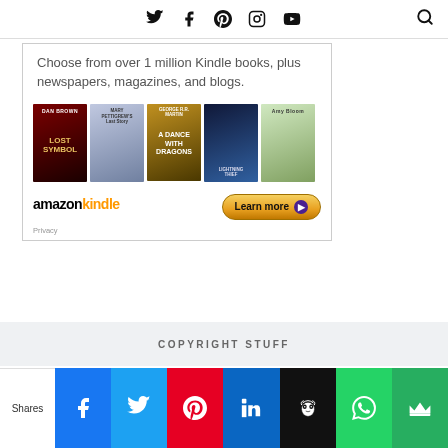Social media navigation icons: Twitter, Facebook, Pinterest, Instagram, YouTube, Search
[Figure (illustration): Amazon Kindle advertisement banner showing book covers (Lost Symbol by Dan Brown, Pitigrews Last Story, A Dance with Dragons by George R.R. Martin, Lightning Thief, Amy Bloom book) with text 'Choose from over 1 million Kindle books, plus newspapers, magazines, and blogs.' and Amazon Kindle logo with 'Learn more' button and 'Privacy' link]
COPYRIGHT STUFF
Shares | Facebook | Twitter | Pinterest | LinkedIn | Hootsuite | WhatsApp | Crown